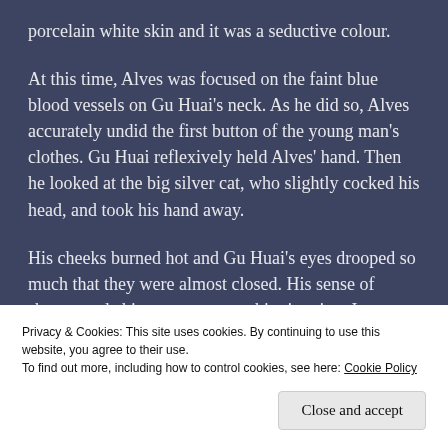porcelain white skin and it was a seductive colour.
At this time, Alves was focused on the faint blue blood vessels on Gu Huai's neck. As he did so, Alves accurately undid the first button of the young man's clothes. Gu Huai reflexively held Alves' hand. Then he looked at the big silver cat, who slightly cocked his head, and took his hand away.
His cheeks burned hot and Gu Huai's eyes drooped so much that they were almost closed. His sense of shame made him try to escape this situation. It was
Privacy & Cookies: This site uses cookies. By continuing to use this website, you agree to their use.
To find out more, including how to control cookies, see here: Cookie Policy
Close and accept